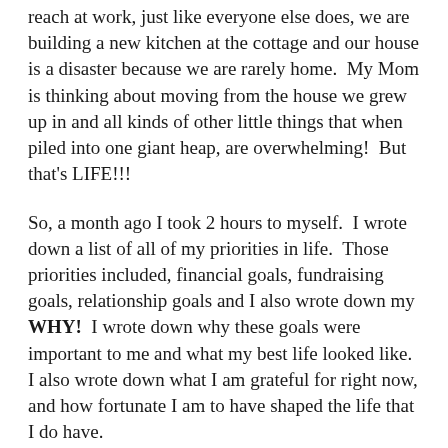reach at work, just like everyone else does, we are building a new kitchen at the cottage and our house is a disaster because we are rarely home.  My Mom is thinking about moving from the house we grew up in and all kinds of other little things that when piled into one giant heap, are overwhelming!  But that's LIFE!!!
So, a month ago I took 2 hours to myself.  I wrote down a list of all of my priorities in life.  Those priorities included, financial goals, fundraising goals, relationship goals and I also wrote down my WHY!  I wrote down why these goals were important to me and what my best life looked like.  I also wrote down what I am grateful for right now, and how fortunate I am to have shaped the life that I do have.
Every morning and every night I read my list.  I read it, I feel it, and then I let it go.  I hand it over to the Universe.  It feels different than what I used to do.  My old way of thinking always led me to believe I had to control the HOW's, but that's